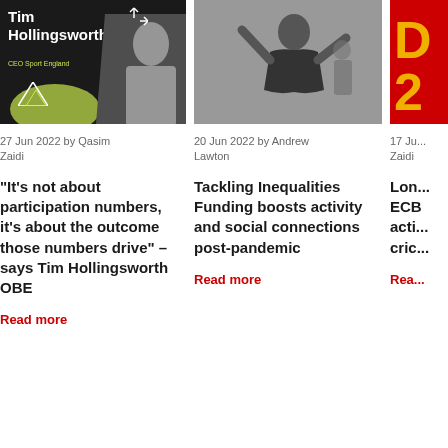[Figure (photo): Dark background thumbnail with Tim Hollingsworth text and CEO Sport England subtitle, with decorative yellow-green shapes]
27 Jun 2022 by Qasim Zaidi
“It’s not about participation numbers, it’s about the outcome those numbers drive” – says Tim Hollingsworth OBE
[Figure (photo): Woman in black sleeveless top dancing or exercising in a fitness setting]
20 Jun 2022 by Andrew Lawton
Tackling Inequalities Funding boosts activity and social connections post-pandemic
Read more
[Figure (photo): Red background with yellow text, partially visible, related to ECB cricket]
17 Ju... Zaidi
Lo... ECB acti... cric...
Rea...